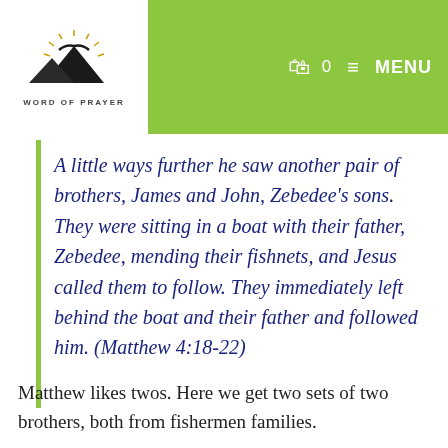WORD OF PRAYER — navigation header with logo, cart icon (0), and MENU
A little ways further he saw another pair of brothers, James and John, Zebedee's sons. They were sitting in a boat with their father, Zebedee, mending their fishnets, and Jesus called them to follow. They immediately left behind the boat and their father and followed him. (Matthew 4:18-22)
Matthew likes twos. Here we get two sets of two brothers, both from fishermen families.